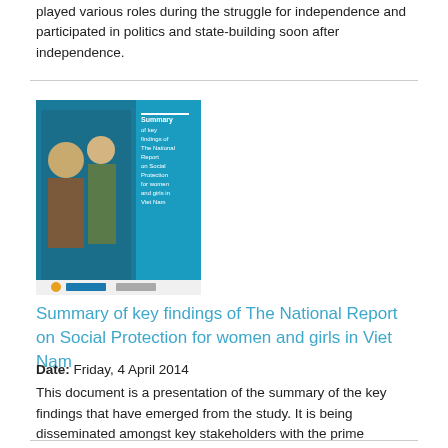played various roles during the struggle for independence and participated in politics and state-building soon after independence.
[Figure (illustration): Book cover thumbnail of 'Summary of key findings of The National Report on Social Protection for women and girls in Viet Nam'. Blue cover with a photo of women and UN/government logos.]
Summary of key findings of The National Report on Social Protection for women and girls in Viet Nam
Date: Friday, 4 April 2014
This document is a presentation of the summary of the key findings that have emerged from the study. It is being disseminated amongst key stakeholders with the prime objective of continuing to seek opinions on the subject of increasing inclusion of women and girls in the social protection system.